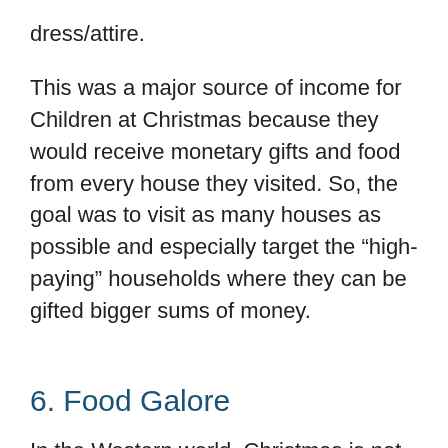dress/attire.
This was a major source of income for Children at Christmas because they would receive monetary gifts and food from every house they visited. So, the goal was to visit as many houses as possible and especially target the “high-paying” households where they can be gifted bigger sums of money.
6. Food Galore
In the Western world, Christmas is not complete without a Christmas tree but in Nigeria and Africa, Christmas is not complete